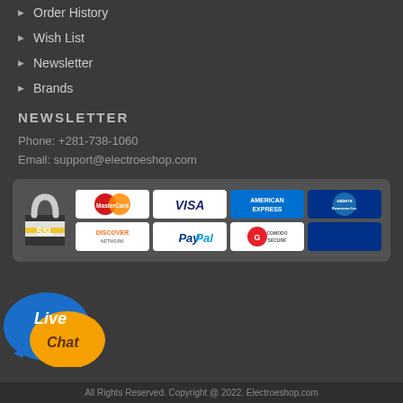Order History
Wish List
Newsletter
Brands
NEWSLETTER
Phone: +281-738-1060
Email: support@electroeshop.com
[Figure (infographic): Payment methods box with SSL padlock icon and payment logos: MasterCard, VISA, American Express, uaterra Resources Inc., Discover, PayPal, Comodo Secure]
[Figure (illustration): Live Chat button with blue and orange speech bubbles]
All Rights Reserved. Copyright @ 2022. Electroeshop.com